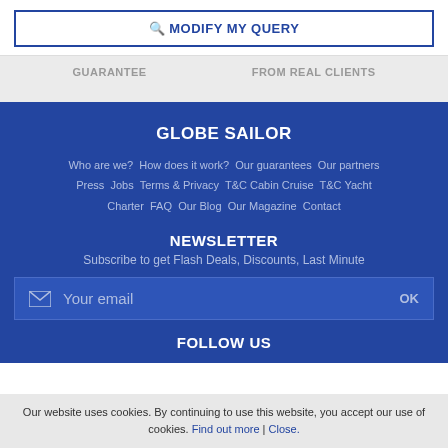MODIFY MY QUERY
GUARANTEE
FROM REAL CLIENTS
GLOBE SAILOR
Who are we?  How does it work?  Our guarantees  Our partners  Press  Jobs  Terms & Privacy  T&C Cabin Cruise  T&C Yacht Charter  FAQ  Our Blog  Our Magazine  Contact
NEWSLETTER
Subscribe to get Flash Deals, Discounts, Last Minute
Your email  OK
FOLLOW US
Our website uses cookies. By continuing to use this website, you accept our use of cookies. Find out more | Close.